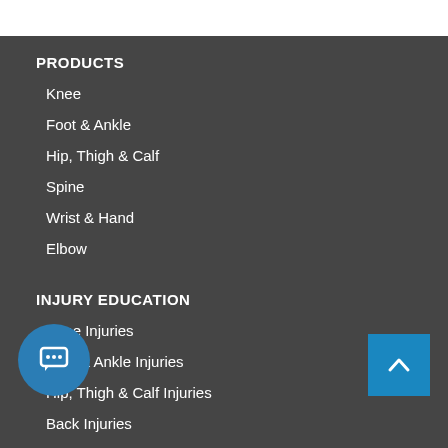PRODUCTS
Knee
Foot & Ankle
Hip, Thigh & Calf
Spine
Wrist & Hand
Elbow
INJURY EDUCATION
Knee Injuries
Foot & Ankle Injuries
Hip, Thigh & Calf Injuries
Back Injuries